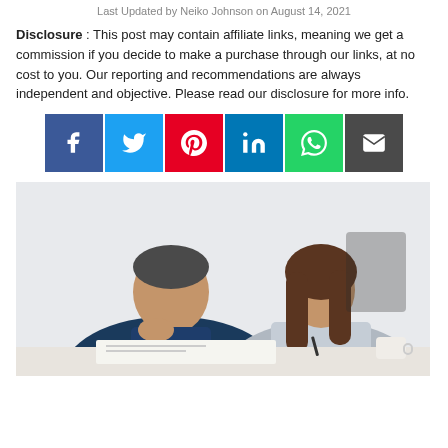Last Updated by Neiko Johnson on August 14, 2021
Disclosure: This post may contain affiliate links, meaning we get a commission if you decide to make a purchase through our links, at no cost to you. Our reporting and recommendations are always independent and objective. Please read our disclosure for more info.
[Figure (infographic): Social media share buttons: Facebook (blue), Twitter (cyan), Pinterest (red), LinkedIn (blue), WhatsApp (green), Email (dark gray)]
[Figure (photo): A man and a woman sitting at a table looking at documents. The man is resting his chin on his hand in thought, and the woman is writing with a pen. A white mug is on the table.]